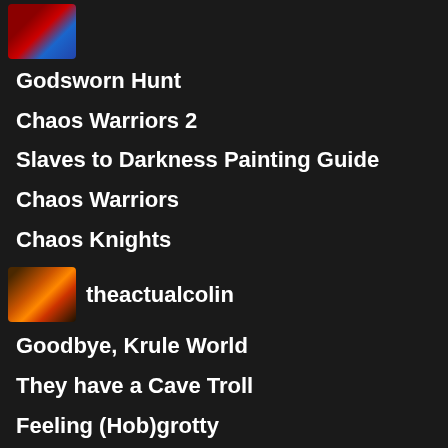[Figure (illustration): Small thumbnail image with red and blue tones at top left]
Godsworn Hunt
Chaos Warriors 2
Slaves to Darkness Painting Guide
Chaos Warriors
Chaos Knights
[Figure (illustration): Small avatar thumbnail with warm orange/red tones, fantasy creature]
theactualcolin
Goodbye, Krule World
They have a Cave Troll
Feeling (Hob)grotty
Krulety and the Beast
Walk (this) way...